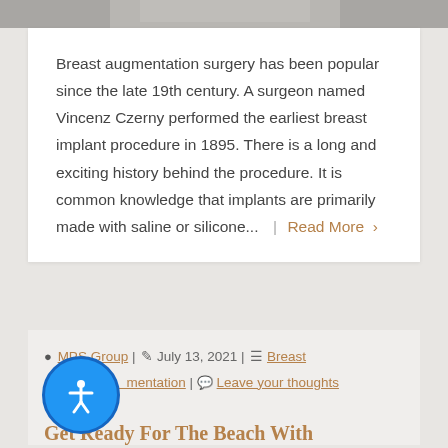[Figure (photo): Partial image at top of page, appears to be a medical/body photo, mostly cropped]
Breast augmentation surgery has been popular since the late 19th century. A surgeon named Vincenz Czerny performed the earliest breast implant procedure in 1895. There is a long and exciting history behind the procedure. It is common knowledge that implants are primarily made with saline or silicone...  |  Read More  >
MPS Group | July 13, 2021 | Breast Augmentation | Leave your thoughts
Get Ready For The Beach With